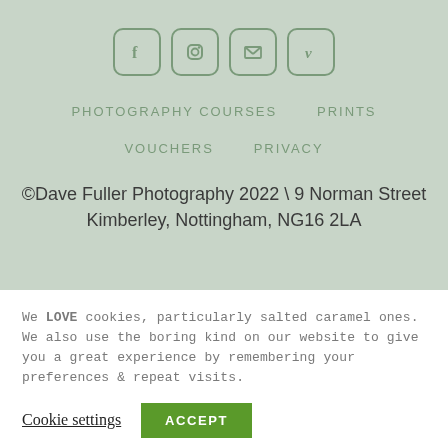[Figure (other): Four social media icon buttons with rounded square borders: Facebook (f), Instagram (circle/square), Email (envelope/X), Vimeo (V)]
PHOTOGRAPHY COURSES    PRINTS
VOUCHERS    PRIVACY
©Dave Fuller Photography 2022 \ 9 Norman Street Kimberley, Nottingham, NG16 2LA
We LOVE cookies, particularly salted caramel ones. We also use the boring kind on our website to give you a great experience by remembering your preferences & repeat visits.
Cookie settings
ACCEPT